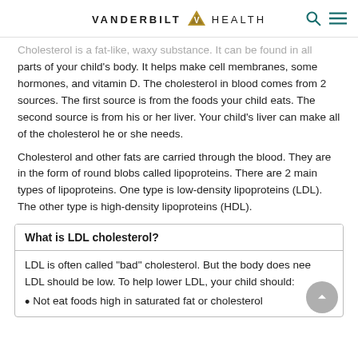VANDERBILT HEALTH
Cholesterol is a fat-like, waxy substance. It can be found in all parts of your child's body. It helps make cell membranes, some hormones, and vitamin D. The cholesterol in blood comes from 2 sources. The first source is from the foods your child eats. The second source is from his or her liver. Your child's liver can make all of the cholesterol he or she needs.
Cholesterol and other fats are carried through the blood. They are in the form of round blobs called lipoproteins. There are 2 main types of lipoproteins. One type is low-density lipoproteins (LDL). The other type is high-density lipoproteins (HDL).
What is LDL cholesterol?
LDL is often called "bad" cholesterol. But the body does need LDL should be low. To help lower LDL, your child should:
Not eat foods high in saturated fat or cholesterol